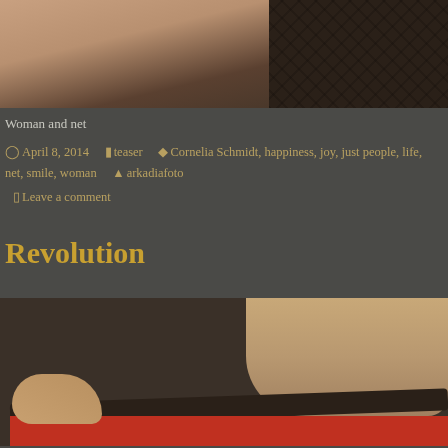[Figure (photo): Partial photo of a woman's bare shoulder and upper back against a dark net/mesh background texture]
Woman and net
April 8, 2014   teaser   Cornelia Schmidt, happiness, joy, just people, life, net, smile, woman   arkadiafoto
Leave a comment
Revolution
[Figure (photo): Partial photo of a woman holding a dark horizontal bar, with a red surface below and a dark speckled background]